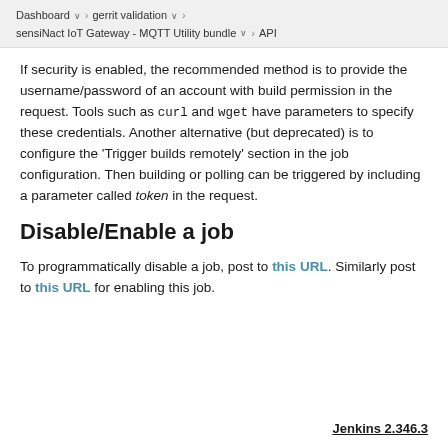Dashboard > gerrit validation > sensiNact IoT Gateway - MQTT Utility bundle > API
If security is enabled, the recommended method is to provide the username/password of an account with build permission in the request. Tools such as curl and wget have parameters to specify these credentials. Another alternative (but deprecated) is to configure the 'Trigger builds remotely' section in the job configuration. Then building or polling can be triggered by including a parameter called token in the request.
Disable/Enable a job
To programmatically disable a job, post to this URL. Similarly post to this URL for enabling this job.
Jenkins 2.346.3